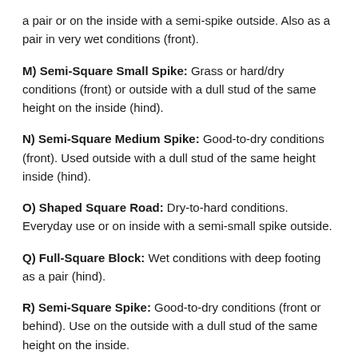a pair or on the inside with a semi-spike outside. Also as a pair in very wet conditions (front).
M) Semi-Square Small Spike: Grass or hard/dry conditions (front) or outside with a dull stud of the same height on the inside (hind).
N) Semi-Square Medium Spike: Good-to-dry conditions (front). Used outside with a dull stud of the same height inside (hind).
O) Shaped Square Road: Dry-to-hard conditions. Everyday use or on inside with a semi-small spike outside.
Q) Full-Square Block: Wet conditions with deep footing as a pair (hind).
R) Semi-Square Spike: Good-to-dry conditions (front or behind). Use on the outside with a dull stud of the same height on the inside.